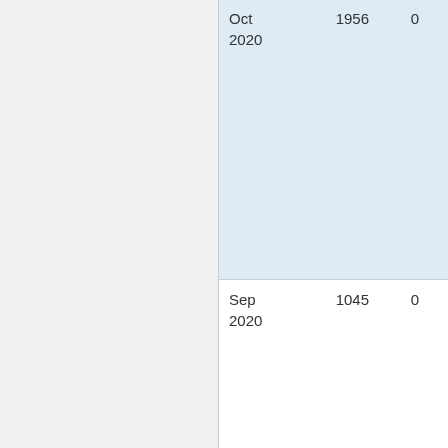| Date | Value1 | Value2 |
| --- | --- | --- |
| Oct 2020 | 1956 | 0 |
| Sep 2020 | 1045 | 0 |